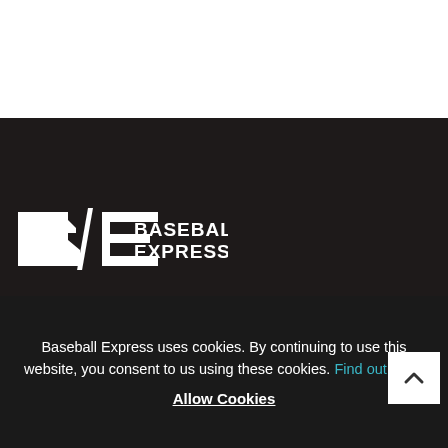[Figure (logo): Baseball Express logo — stylized BE monogram with 'BASEBALL EXPRESS' text in white on dark background]
[Figure (infographic): Social media icons: Facebook, Twitter, YouTube, Instagram, and a trophy/rewards icon, all in white on dark background]
[Figure (infographic): App store download buttons: 'Download on the App Store' (Apple) and 'GET IT ON Google Play']
Baseball Express uses cookies. By continuing to use this website, you consent to us using these cookies. Find out more
Allow Cookies